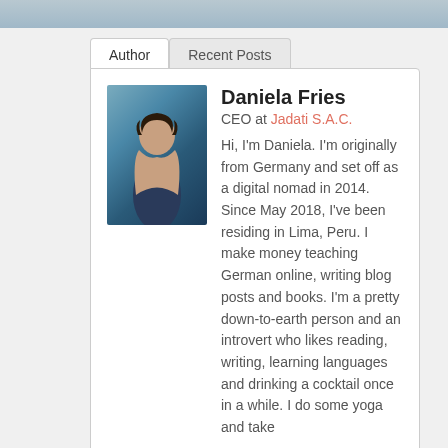[Figure (photo): Top image strip showing a beach/outdoor scene, partially cropped]
Author | Recent Posts
[Figure (photo): Portrait photo of Daniela Fries at a beach, dark hair, wearing a dark blue sleeveless top]
Daniela Fries
CEO at Jadati S.A.C.
Hi, I'm Daniela. I'm originally from Germany and set off as a digital nomad in 2014. Since May 2018, I've been residing in Lima, Peru. I make money teaching German online, writing blog posts and books. I'm a pretty down-to-earth person and an introvert who likes reading, writing, learning languages and drinking a cocktail once in a while. I do some yoga and take